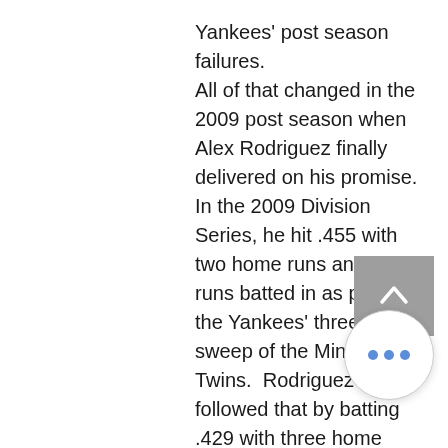Yankees' post season failures. All of that changed in the 2009 post season when Alex Rodriguez finally delivered on his promise. In the 2009 Division Series, he hit .455 with two home runs and six runs batted in as part of the Yankees' three game sweep of the Minnesota Twins. Rodriguez followed that by batting .429 with three home runs and six more runs batted in against the Los Angeles Angels of Anaheim as the Yankees won that series in six games. While his batting average was just .250, Rodriguez hit one home run and drove in six runs to help the Yankees defeat the Philadelphia Phillies to capture the 2009 World Championship. Alex Rodriguez wa... huge force that post season as he put to